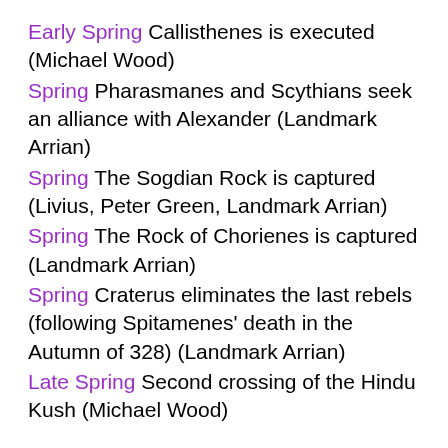Early Spring Callisthenes is executed (Michael Wood)
Spring Pharasmanes and Scythians seek an alliance with Alexander (Landmark Arrian)
Spring The Sogdian Rock is captured (Livius, Peter Green, Landmark Arrian)
Spring The Rock of Chorienes is captured (Landmark Arrian)
Spring Craterus eliminates the last rebels (following Spitamenes' death in the Autumn of 328) (Landmark Arrian)
Late Spring Second crossing of the Hindu Kush (Michael Wood)
326
Early Spring The Aornos Rock is captured (Michael Wood)
NB The Landmark Arrian dates the capture of the Aornos